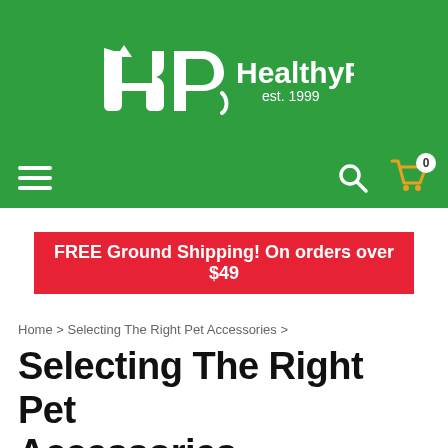[Figure (logo): HealthyPets logo with stylized HP mark, 'HealthyPets' text and 'est. 1999' on green background]
[Figure (infographic): Navigation bar with hamburger menu icon on left, search icon and shopping cart with '0' badge on right, on green background]
FREE Ground Shipping! On orders over $49
Home > Selecting The Right Pet Accessories >
Selecting The Right Pet Accessories
Selecting the Right Pet Harness
We can give our pets an opportunity to explore the out doors safely by using the right pet harness ... pets can be trained to follow you on a lead an...